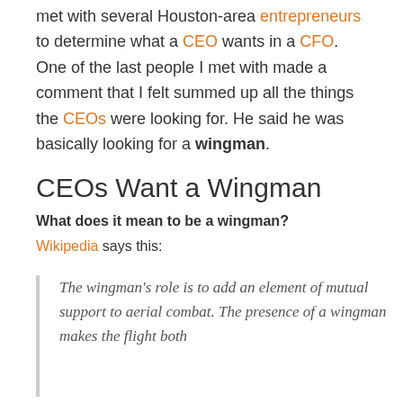met with several Houston-area entrepreneurs to determine what a CEO wants in a CFO.  One of the last people I met with made a comment that I felt summed up all the things the CEOs were looking for. He said he was basically looking for a wingman.
CEOs Want a Wingman
What does it mean to be a wingman?
Wikipedia says this:
The wingman's role is to add an element of mutual support to aerial combat. The presence of a wingman makes the flight both